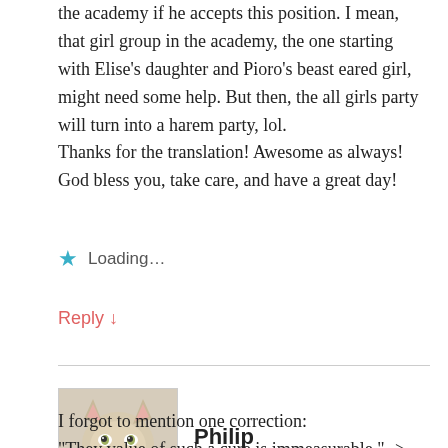the academy if he accepts this position. I mean, that girl group in the academy, the one starting with Elise's daughter and Pioro's beast eared girl, might need some help. But then, the all girls party will turn into a harem party, lol.
Thanks for the translation! Awesome as always! God bless you, take care, and have a great day!
★ Loading...
Reply ↓
Philip
September 4, 2019 at 2:23 am
I forgot to mention one correction:
"They value of such a cure is immeasurable." -> [They